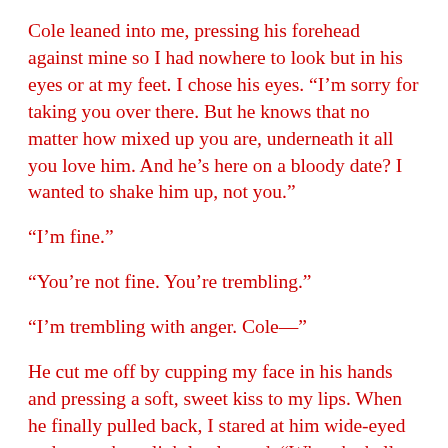Cole leaned into me, pressing his forehead against mine so I had nowhere to look but in his eyes or at my feet. I chose his eyes. “I’m sorry for taking you over there. But he knows that no matter how mixed up you are, underneath it all you love him. And he’s here on a bloody date? I wanted to shake him up, not you.”
“I’m fine.”
“You’re not fine. You’re trembling.”
“I’m trembling with anger. Cole—”
He cut me off by cupping my face in his hands and pressing a soft, sweet kiss to my lips. When he finally pulled back, I stared at him wide-eyed and more than slightly alarmed. “What the hell are you doing?”
“Reminding him he hasn’t won you yet and unless he